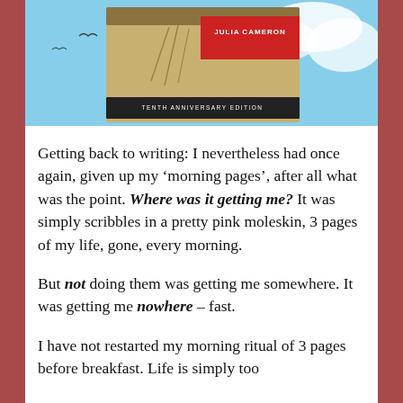[Figure (photo): Photo of a book by Julia Cameron, Tenth Anniversary Edition, against a blue sky background]
Getting back to writing: I nevertheless had once again, given up my ‘morning pages’, after all what was the point. Where was it getting me? It was simply scribbles in a pretty pink moleskin, 3 pages of my life, gone, every morning.
But not doing them was getting me somewhere. It was getting me nowhere – fast.
I have not restarted my morning ritual of 3 pages before breakfast. Life is simply too